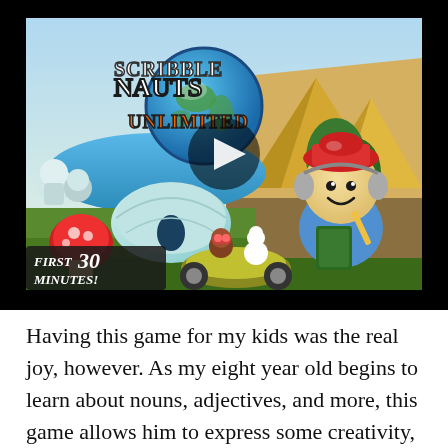[Figure (screenshot): Video thumbnail of Scribblenauts Unlimited game showing colorful game artwork with pyramids, igloos, and cartoon characters including Maxwell in a red hat. A play button overlay is centered on the image. Text in lower left reads 'FIRST 30 MINUTES!']
Having this game for my kids was the real joy, however. As my eight year old begins to learn about nouns, adjectives, and more, this game allows him to express some creativity, while